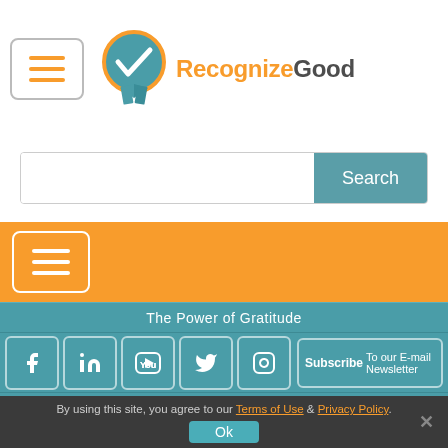[Figure (logo): RecognizeGood logo with orange ribbon/badge icon and text 'RecognizeGood' with orange 'Recognize' and dark 'Good']
[Figure (screenshot): Search bar with white input field and teal 'Search' button]
[Figure (screenshot): Orange navigation bar with white hamburger menu icon]
The Power of Gratitude
[Figure (screenshot): Social media icons bar: Facebook, LinkedIn, YouTube, Twitter, Instagram, and Subscribe To our E-mail Newsletter button]
12317 Technology Blvd., STE 100,
Austin, TX 78727
By using this site, you agree to our Terms of Use & Privacy Policy.
Ok